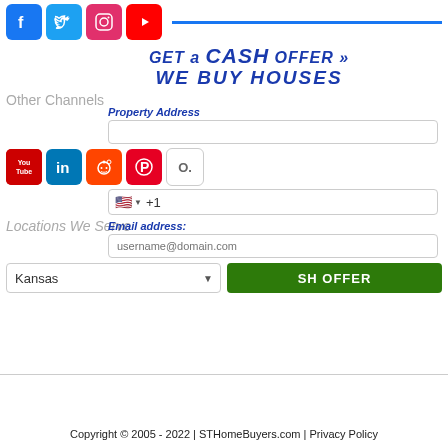[Figure (screenshot): Social media icons row: Facebook (blue), Twitter (blue bird), Instagram (pink/red), YouTube (red) followed by a blue horizontal line]
GET a CASH OFFER » WE BUY HOUSES
Other Channels
Property Address
[Figure (screenshot): Second row of social media icons: YouTube, LinkedIn, Reddit, Pinterest, and an 'O' icon]
Email address:
Locations We Serve
username@domain.com
Kansas
SH OFFER
Copyright © 2005 - 2022 | STHomeBuyers.com | Privacy Policy